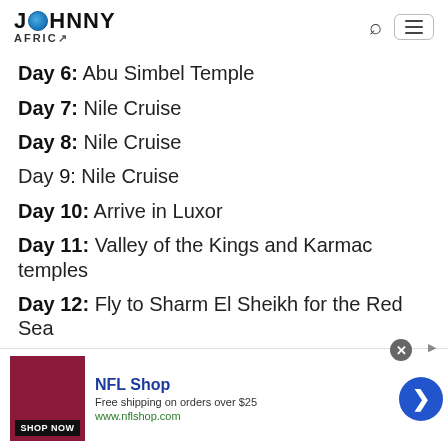JOHNNY AFRICA
Day 6: Abu Simbel Temple
Day 7: Nile Cruise
Day 8: Nile Cruise
Day 9: Nile Cruise
Day 10: Arrive in Luxor
Day 11: Valley of the Kings and Karmac temples
Day 12: Fly to Sharm El Sheikh for the Red Sea
Day 13: Dahab
Day 14: Dahab
Day 15: Dahab
[Figure (other): NFL Shop advertisement banner with shop now button, free shipping offer, and navigation arrow]